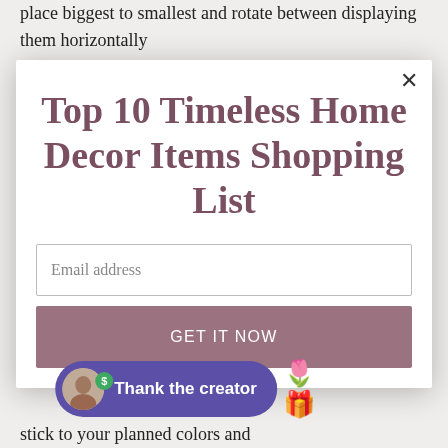place biggest to smallest and rotate between displaying them horizontally
Top 10 Timeless Home Decor Items Shopping List
Email address
GET IT NOW
Thank the creator
stick to your planned colors and